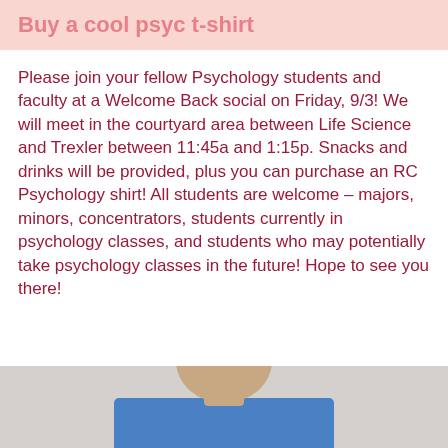Buy a cool psyc t-shirt
Please join your fellow Psychology students and faculty at a Welcome Back social on Friday, 9/3! We will meet in the courtyard area between Life Science and Trexler between 11:45a and 1:15p. Snacks and drinks will be provided, plus you can purchase an RC Psychology shirt! All students are welcome – majors, minors, concentrators, students currently in psychology classes, and students who may potentially take psychology classes in the future! Hope to see you there!
[Figure (photo): Partial photo of a person wearing a blue shirt, showing the neck and upper torso area against a light gray background.]